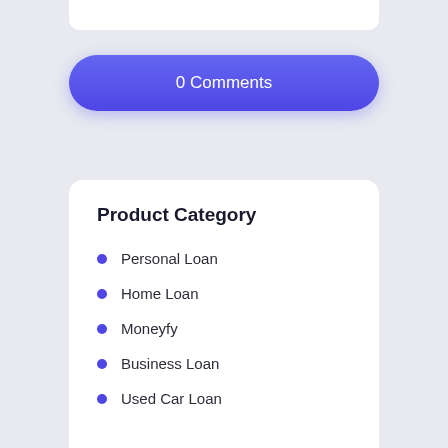0 Comments
Product Category
Personal Loan
Home Loan
Moneyfy
Business Loan
Used Car Loan
Two Wheeler Loan